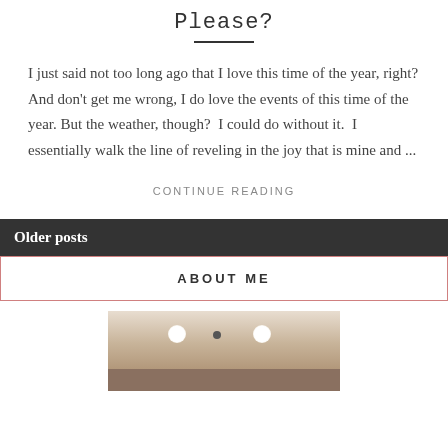Please?
I just said not too long ago that I love this time of the year, right? And don't get me wrong, I do love the events of this time of the year. But the weather, though?  I could do without it.  I essentially walk the line of reveling in the joy that is mine and ...
CONTINUE READING
Older posts
ABOUT ME
[Figure (photo): Interior ceiling photo showing recessed lights and tan/brown walls]